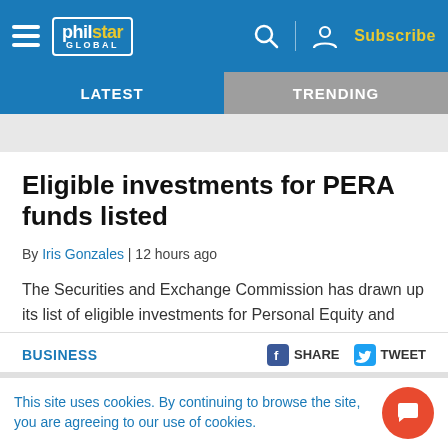philstar GLOBAL — Subscribe
LATEST | TRENDING
Eligible investments for PERA funds listed
By Iris Gonzales | 12 hours ago
The Securities and Exchange Commission has drawn up its list of eligible investments for Personal Equity and Retirement Account funds.
BUSINESS   SHARE   TWEET
This site uses cookies. By continuing to browse the site, you are agreeing to our use of cookies.